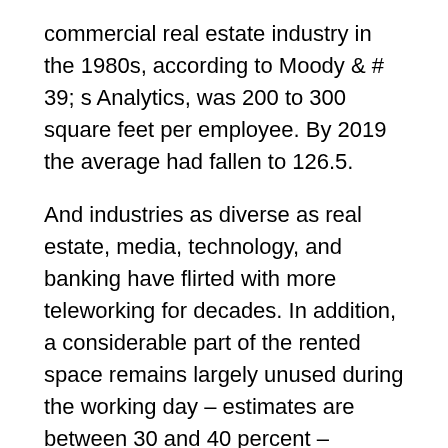commercial real estate industry in the 1980s, according to Moody & # 39; s Analytics, was 200 to 300 square feet per employee. By 2019 the average had fallen to 126.5.
And industries as diverse as real estate, media, technology, and banking have flirted with more teleworking for decades. In addition, a considerable part of the rented space remains largely unused during the working day – estimates are between 30 and 40 percent – because the employees are not in the office for various reasons.
However, the crisis has given some developers an opportunity to rethink their strategy.
"I think this is a moment for the real estate industry to reflect on current wealth, how it will be used and what future options there might be," said Ms. Botting.